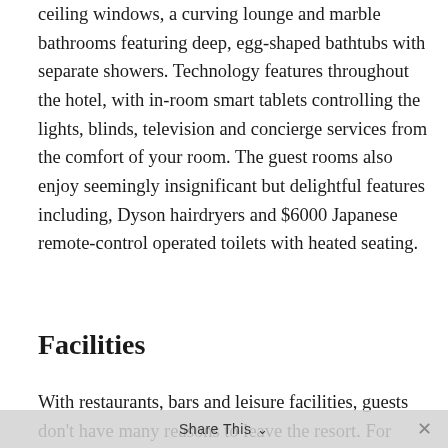ceiling windows, a curving lounge and marble bathrooms featuring deep, egg-shaped bathtubs with separate showers. Technology features throughout the hotel, with in-room smart tablets controlling the lights, blinds, television and concierge services from the comfort of your room. The guest rooms also enjoy seemingly insignificant but delightful features including, Dyson hairdryers and $6000 Japanese remote-control operated toilets with heated seating.
Facilities
With restaurants, bars and leisure facilities, guests don't have many reasons to leave the resort. For many, this is
Share This